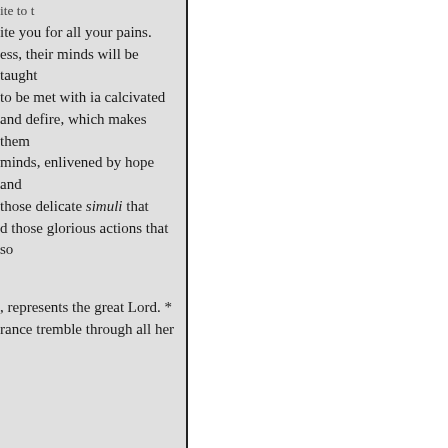ite you for all your pains. ess, their minds will be taught to be met with ia calcivated and defire, which makes them minds, enlivened by hope and those delicate simuli that d those glorious actions that so
, represents the great Lord. * rance tremble through all her
nay, with any degree of jufe r the inferior orders of the ostance, finews, arms, and stance.-His large possessions, ttle above the cicud, to make oney,--without influence, he defending the state by the